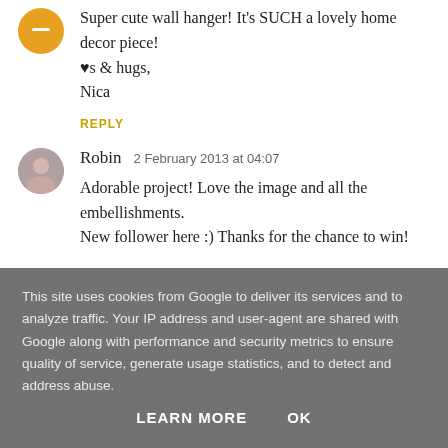Super cute wall hanger! It's SUCH a lovely home decor piece!
♥s & hugs,
Nica
REPLY
Robin  2 February 2013 at 04:07
Adorable project! Love the image and all the embellishments.
New follower here :) Thanks for the chance to win!
This site uses cookies from Google to deliver its services and to analyze traffic. Your IP address and user-agent are shared with Google along with performance and security metrics to ensure quality of service, generate usage statistics, and to detect and address abuse.
LEARN MORE    OK